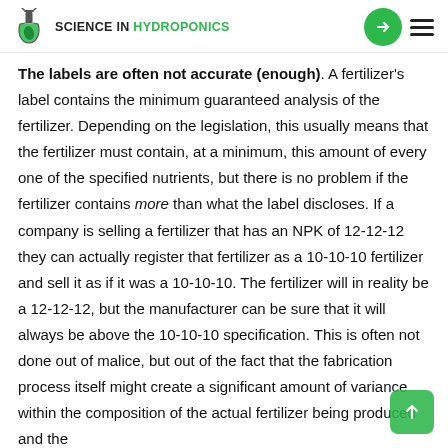SCIENCE IN HYDROPONICS
The labels are often not accurate (enough). A fertilizer's label contains the minimum guaranteed analysis of the fertilizer. Depending on the legislation, this usually means that the fertilizer must contain, at a minimum, this amount of every one of the specified nutrients, but there is no problem if the fertilizer contains more than what the label discloses. If a company is selling a fertilizer that has an NPK of 12-12-12 they can actually register that fertilizer as a 10-10-10 fertilizer and sell it as if it was a 10-10-10. The fertilizer will in reality be a 12-12-12, but the manufacturer can be sure that it will always be above the 10-10-10 specification. This is often not done out of malice, but out of the fact that the fabrication process itself might create a significant amount of variance within the composition of the actual fertilizer being produced and the